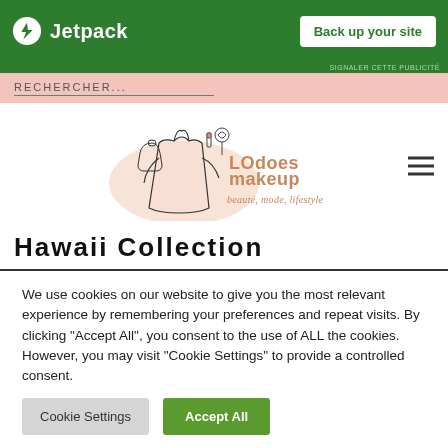[Figure (logo): Jetpack advertisement banner with green background, Jetpack logo and 'Back up your site' button]
SIGNALER CETTE PUBLICITÉ
RECHERCHER...
[Figure (logo): LOdoesmakeup logo with line art illustration of a woman and text 'beauté, mode, lifestyle']
Hawaii Collection
We use cookies on our website to give you the most relevant experience by remembering your preferences and repeat visits. By clicking "Accept All", you consent to the use of ALL the cookies. However, you may visit "Cookie Settings" to provide a controlled consent.
Cookie Settings
Accept All